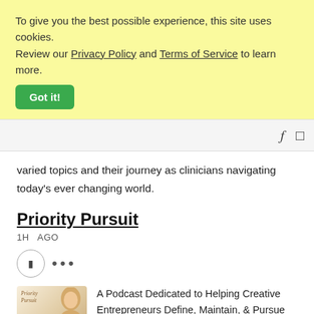To give you the best possible experience, this site uses cookies. Review our Privacy Policy and Terms of Service to learn more.
Got it!
varied topics and their journey as clinicians navigating today's ever changing world.
Priority Pursuit
1H  AGO
[Figure (other): Circular play/pause button icon with three dots (ellipsis) to the right]
[Figure (photo): Podcast thumbnail showing 'Priority Pursuit' text with a woman's photo]
A Podcast Dedicated to Helping Creative Entrepreneurs Define, Maintain, & Pursue Both